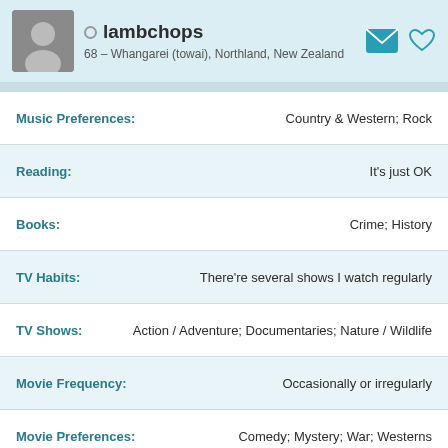lambchops
68 – Whangarei (towai), Northland, New Zealand
| Field | Value |
| --- | --- |
| Music Preferences: | Country & Western; Rock |
| Reading: | It's just OK |
| Books: | Crime; History |
| TV Habits: | There're several shows I watch regularly |
| TV Shows: | Action / Adventure; Documentaries; Nature / Wildlife |
| Movie Frequency: | Occasionally or irregularly |
| Movie Preferences: | Comedy; Mystery; War; Westerns |
| Interests: | Gardening |